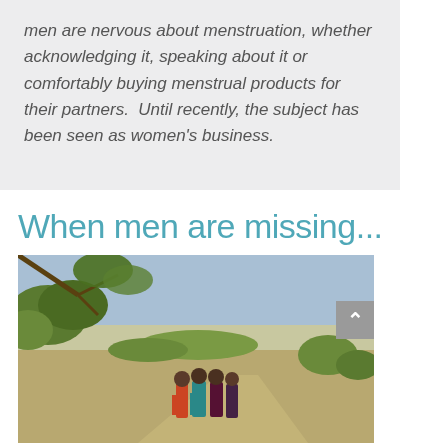men are nervous about menstruation, whether acknowledging it, speaking about it or comfortably buying menstrual products for their partners.  Until recently, the subject has been seen as women's business.
When men are missing...
[Figure (photo): Four people walking away from camera on a dirt path in a rural landscape with scrub vegetation and blue sky. A scroll-to-top button is overlaid on the right side.]